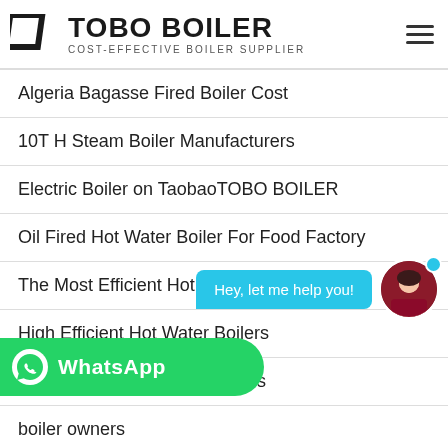TOBO BOILER — COST-EFFECTIVE BOILER SUPPLIER
Algeria Bagasse Fired Boiler Cost
10T H Steam Boiler Manufacturers
Electric Boiler on TaobaoTOBO BOILER
Oil Fired Hot Water Boiler For Food Factory
The Most Efficient Hot Water Boiler
High Efficient Hot Water Boilers
Contact us Hassle Free Boilers
boiler owners
carcasa boiler Truma TT2 carmallro
[Figure (infographic): Chat support overlay with 'Hey, let me help you!' bubble and female avatar with online indicator dot]
[Figure (logo): WhatsApp button (green rounded bar) with WhatsApp icon and text]